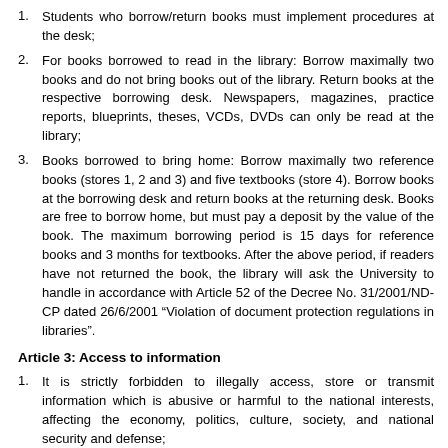Students who borrow/return books must implement procedures at the desk;
For books borrowed to read in the library: Borrow maximally two books and do not bring books out of the library. Return books at the respective borrowing desk. Newspapers, magazines, practice reports, blueprints, theses, VCDs, DVDs can only be read at the library;
Books borrowed to bring home: Borrow maximally two reference books (stores 1, 2 and 3) and five textbooks (store 4). Borrow books at the borrowing desk and return books at the returning desk. Books are free to borrow home, but must pay a deposit by the value of the book. The maximum borrowing period is 15 days for reference books and 3 months for textbooks. After the above period, if readers have not returned the book, the library will ask the University to handle in accordance with Article 52 of the Decree No. 31/2001/ND-CP dated 26/6/2001 “Violation of document protection regulations in libraries”.
Article 3: Access to information
It is strictly forbidden to illegally access, store or transmit information which is abusive or harmful to the national interests, affecting the economy, politics, culture, society, and national security and defense;